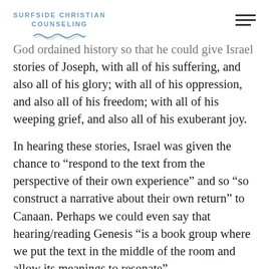SURFSIDE CHRISTIAN COUNSELING
God ordained history so that he could give Israel the stories of Joseph, with all of his suffering, and also all of his glory; with all of his oppression, and also all of his freedom; with all of his weeping grief, and also all of his exuberant joy.
In hearing these stories, Israel was given the chance to “respond to the text from the perspective of their own experience” and so “so construct a narrative about their own return” to Canaan. Perhaps we could even say that hearing/reading Genesis “is a book group where we put the text in the middle of the room and allow its meanings to resonate”.